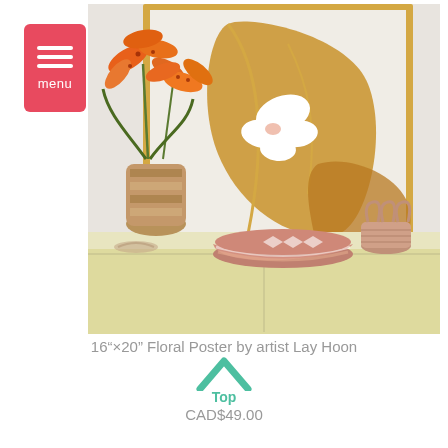[Figure (photo): Menu button with three white horizontal lines and 'menu' label on a coral/red rounded rectangle background]
[Figure (photo): Product photo: A framed gold botanical leaf poster on a white wall, with orange lilies in a woven vase, a pink woven bowl, and a small woven basket on a cream-colored dresser]
16”×20” Floral Poster by artist Lay Hoon
Top
CAD$49.00